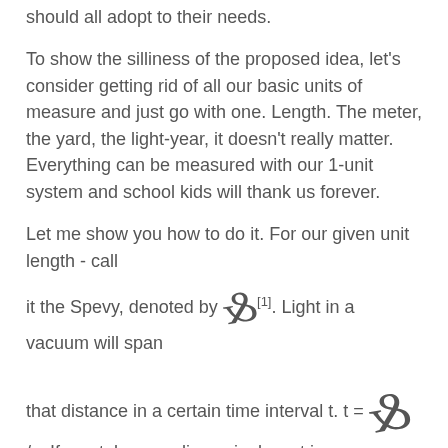should all adopt to their needs.
To show the silliness of the proposed idea, let's consider getting rid of all our basic units of measure and just go with one. Length. The meter, the yard, the light-year, it doesn't really matter. Everything can be measured with our 1-unit system and school kids will thank us forever.
Let me show you how to do it. For our given unit length - call it the Spevy, denoted by [symbol][1]. Light in a vacuum will span that distance in a certain time interval t. t = [symbol]/c. If you take c as dimensionless, t is now measured in length as well. And now we are off to the races. Literally. Velocity is next. That is a length over time, both of which have identical units and so velocity is dimensionless. Similarly, acceleration would have units of inverse length.
The gravitational force between 2 masses is proportional to